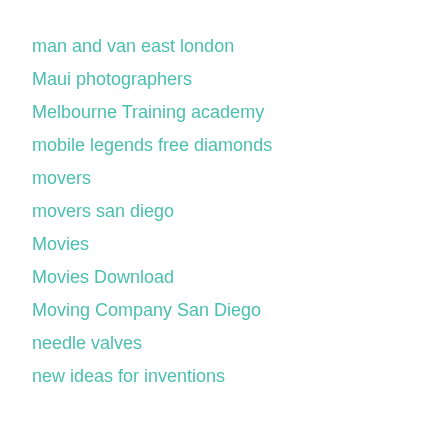man and van east london
Maui photographers
Melbourne Training academy
mobile legends free diamonds
movers
movers san diego
Movies
Movies Download
Moving Company San Diego
needle valves
new ideas for inventions